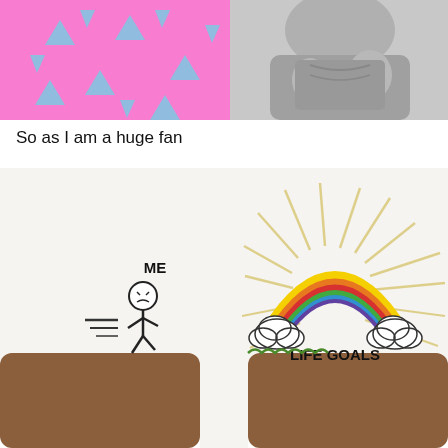[Figure (photo): Top portion of a meme image showing a muscular man in a pink patterned background with blue triangle/diamond shapes]
So as I am a huge fan
[Figure (illustration): Meme comic showing a stick figure labeled 'ME' running toward a gap, with a rainbow labeled 'LIFE GOALS' on the other side above a chasm]